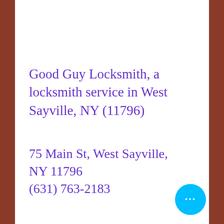Good Guy Locksmith, a locksmith service in West Sayville, NY (11796)
75 Main St, West Sayville, NY 11796
(631) 763-2183